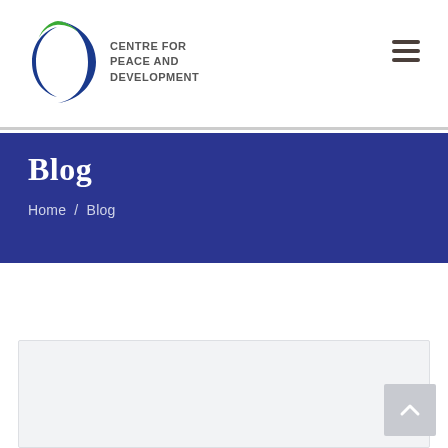Centre for Peace and Development
Blog
Home / Blog